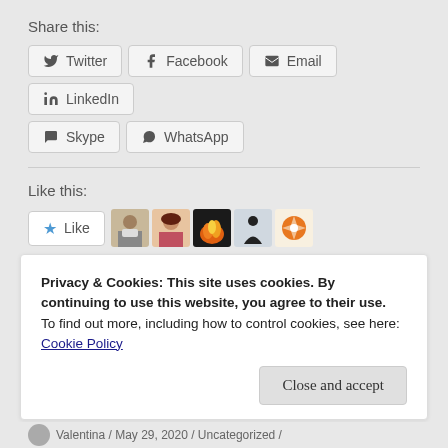Share this:
Twitter
Facebook
Email
LinkedIn
Skype
WhatsApp
Like this:
5 bloggers like this.
Privacy & Cookies: This site uses cookies. By continuing to use this website, you agree to their use.
To find out more, including how to control cookies, see here: Cookie Policy
Close and accept
Valentina / May 29, 2020 / Uncategorized /